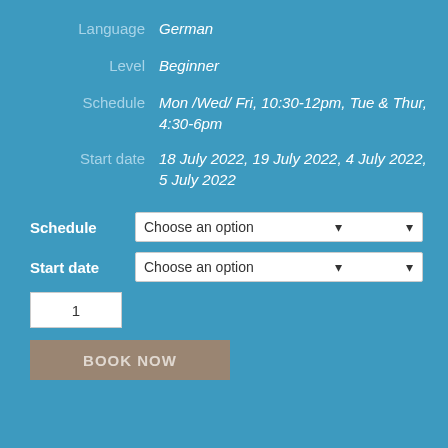Language: German
Level: Beginner
Schedule: Mon /Wed/ Fri, 10:30-12pm, Tue & Thur, 4:30-6pm
Start date: 18 July 2022, 19 July 2022, 4 July 2022, 5 July 2022
Schedule — Choose an option
Start date — Choose an option
1
BOOK NOW